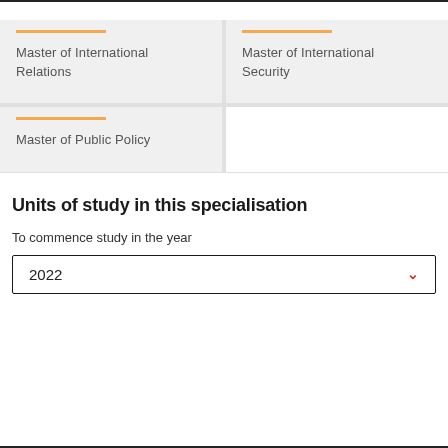Master of International Relations
Master of International Security
Master of Public Policy
Units of study in this specialisation
To commence study in the year
2022